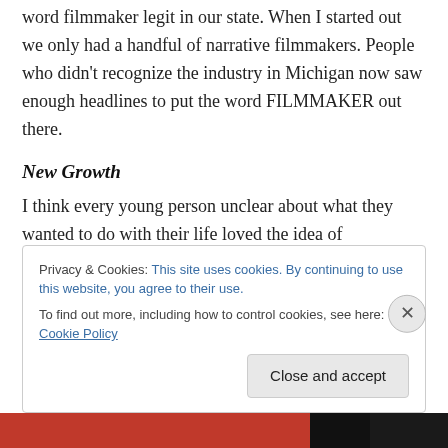word filmmaker legit in our state. When I started out we only had a handful of narrative filmmakers. People who didn't recognize the industry in Michigan now saw enough headlines to put the word FILMMAKER out there.
New Growth
I think every young person unclear about what they wanted to do with their life loved the idea of filmmaking. To play with technology and create stuff to impress other people is enticing. But the business of it is not nearly as
Privacy & Cookies: This site uses cookies. By continuing to use this website, you agree to their use.
To find out more, including how to control cookies, see here: Cookie Policy